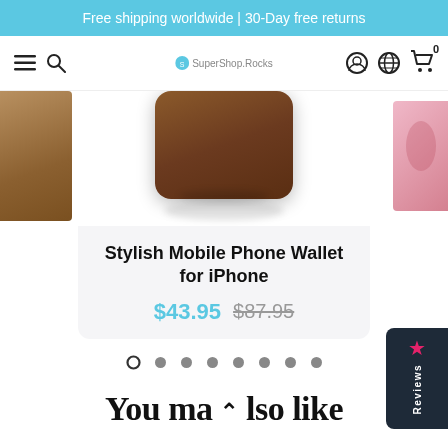Free shipping worldwide | 30-Day free returns
[Figure (screenshot): E-commerce navigation bar with hamburger menu, search icon, SuperShop.Rocks logo, account icon, globe icon, and shopping cart with 0 badge]
[Figure (photo): Product images: left partial brown wood image, center brown leather iPhone wallet case with shadow, right partial pink case]
Stylish Mobile Phone Wallet for iPhone
$43.95  $87.95
[Figure (other): Carousel pagination dots: 8 dots, first one is hollow/active, rest are filled gray]
[Figure (other): Reviews tab on right side with star icon]
You ma  lso like